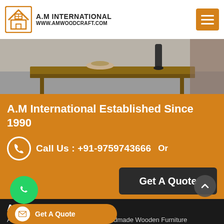A.M INTERNATIONAL www.amwoodcraft.com
[Figure (screenshot): Hero image showing a wooden table surface with a bowl and vase in a room setting]
A.M International Established Since 1990
Call Us : +91-9759743666   Or
Get A Quote
About A.M International
AM International is a well known Handmade Wooden [Furniture] Manufacturer [in Saharanpur, UP and supplier of handcrafted products in many categories. The organization started its journey as a producer and supplier of wooden products in the